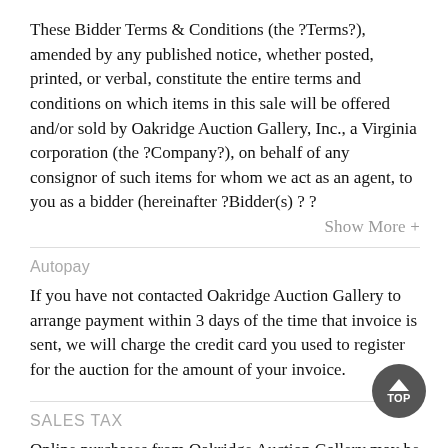These Bidder Terms & Conditions (the ?Terms?), amended by any published notice, whether posted, printed, or verbal, constitute the entire terms and conditions on which items in this sale will be offered and/or sold by Oakridge Auction Gallery, Inc., a Virginia corporation (the ?Company?), on behalf of any consignor of such items for whom we act as an agent, to you as a bidder (hereinafter ?Bidder(s) ? ?
Show More +
Autopay
If you have not contacted Oakridge Auction Gallery to arrange payment within 3 days of the time that invoice is sent, we will charge the credit card you used to register for the auction for the amount of your invoice.
SALES TAX
Online purchases from Oakridge Auction Gallery may be subject to sales tax. Please see the following for